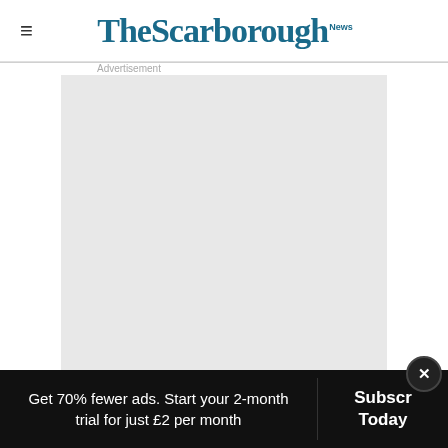The Scarborough News
[Figure (other): Advertisement placeholder box, light grey background, labelled 'Advertisement']
Here are six top suggestions;
Get 70% fewer ads. Start your 2-month trial for just £2 per month
Subscribe Today